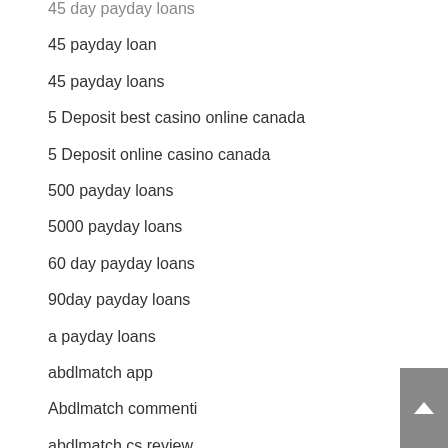45 day payday loans
45 payday loan
45 payday loans
5 Deposit best casino online canada
5 Deposit online casino canada
500 payday loans
5000 payday loans
60 day payday loans
90day payday loans
a payday loans
abdlmatch app
Abdlmatch commenti
abdlmatch cs review
abdlmatch dating
abdlmatch mobile